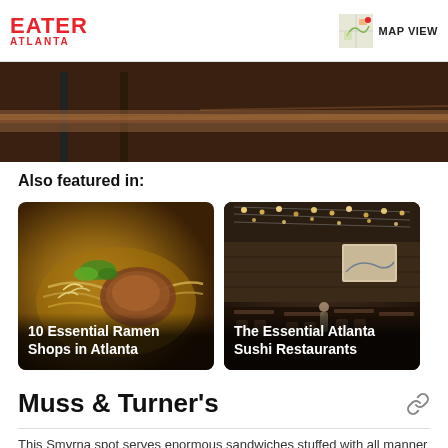EATER ATLANTA
[Figure (photo): Partial view of a wooden restaurant table/bar surface, cropped hero image]
Also featured in:
[Figure (photo): Close-up of ramen bowl with noodles, green onions, and chashu pork. Card title: 10 Essential Ramen Shops in Atlanta]
[Figure (photo): Interior of an upscale restaurant with string lights on ceiling and set tables. Card title: The Essential Atlanta Sushi Restaurants]
Muss & Turner's
This Smyrna spot serves enormous sandwiches stuffed with all manner of